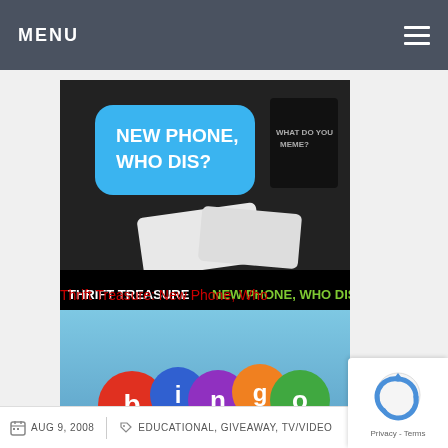MENU
[Figure (photo): Card game box with 'New Phone, Who Dis?' text on a blue speech bubble, white cards on dark surface. Bottom banner reads 'THRIFT TREASURE NEW PHONE, WHO DIS?']
Thrift Treasure: New Phone, Who
[Figure (photo): Bingo Bash game logo with colorful bingo balls spelling BINGO on blue background. Bottom banner reads 'HOT CHOCOLATE AND POPCORN NOT INCLUDED' with MHD Reviews logo.]
Hot Chocolate, Popcorn and Bingo
AUG 9, 2008   EDUCATIONAL, GIVEAWAY, TV/VIDEO